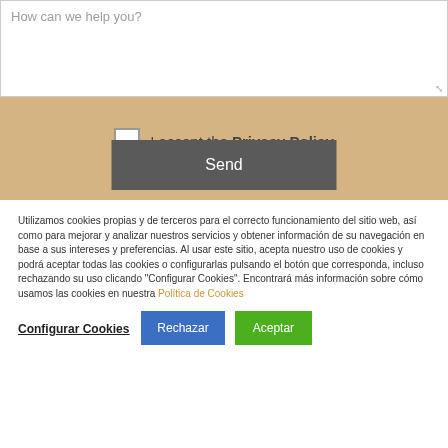How can we help you?
I accept the Privacy Policy
Send
Utilizamos cookies propias y de terceros para el correcto funcionamiento del sitio web, así como para mejorar y analizar nuestros servicios y obtener información de su navegación en base a sus intereses y preferencias. Al usar este sitio, acepta nuestro uso de cookies y podrá aceptar todas las cookies o configurarlas pulsando el botón que corresponda, incluso rechazando su uso clicando "Configurar Cookies". Encontrará más información sobre cómo usamos las cookies en nuestra Política de Cookies
Configurar Cookies
Rechazar
Aceptar